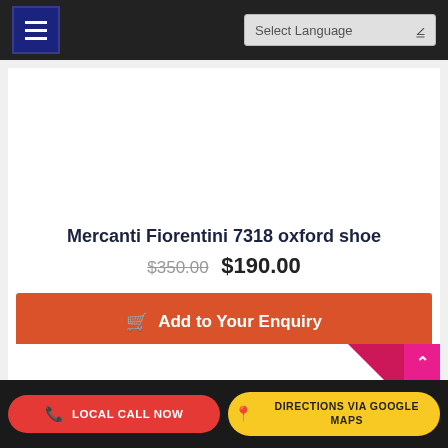☰  Select Language
Mercanti Fiorentini 7318 oxford shoe
$350.00  $190.00
Add to Your Enquiry
[Figure (other): SALE! badge triangle overlay on second product card]
LOCAL CALL NOW  DIRECTIONS VIA GOOGLE MAPS